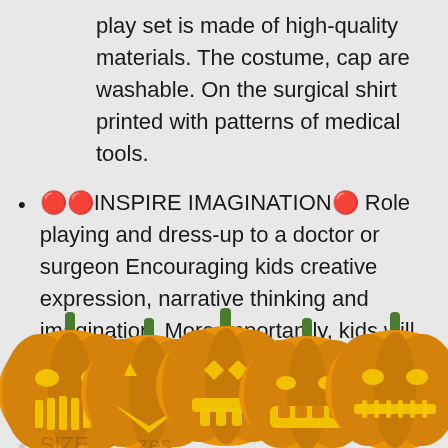play set is made of high-quality materials. The costume, cap are washable. On the surgical shirt printed with patterns of medical tools.
🔴🔴INSPIRE IMAGINATION🔴 Role playing and dress-up to a doctor or surgeon Encouraging kids creative expression, narrative thinking and imagination. More importantly, kids will be much more relaxed to see the doctor.
[Figure (illustration): Five Halloween jack-o-lantern pumpkins in a row across the bottom of the page, each with different carved face expressions, orange color with green stems, partially overlapping a partially visible bullet point list item below.]
SIZE... sizes ... years... gift f...